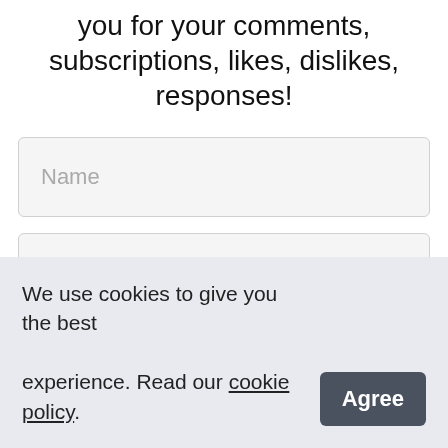you for your comments, subscriptions, likes, dislikes, responses!
Name
Phone
Email
We use cookies to give you the best experience. Read our cookie policy.
Agree